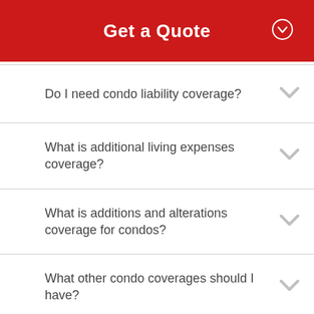Get a Quote
Do I need condo liability coverage?
What is additional living expenses coverage?
What is additions and alterations coverage for condos?
What other condo coverages should I have?